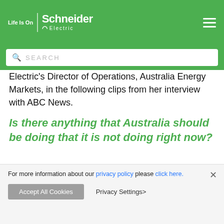Life Is On | Schneider Electric
SEARCH
Electric's Director of Operations, Australia Energy Markets, in the following clips from her interview with ABC News.
Is there anything that Australia should be doing that it is not doing right now?
[Figure (screenshot): ABC News video thumbnail showing title 'What will the suspension of the ele...']
For more information about our privacy policy please click here.
Accept All Cookies   Privacy Settings>